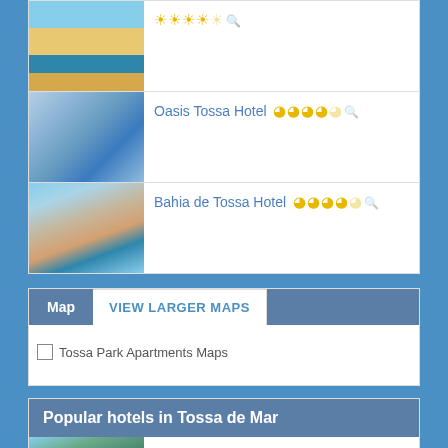Hotel (unnamed/clipped) - 4 stars
Oasis Tossa Hotel - 4 stars
Bahia de Tossa Hotel - 4 stars
Map | VIEW LARGER MAPS
Tossa Park Apartments Maps
Popular hotels in Tossa de Mar
Medplaya San Eloy Aparthotel - 4 stars
Tossa Beach Hotel - 3 stars